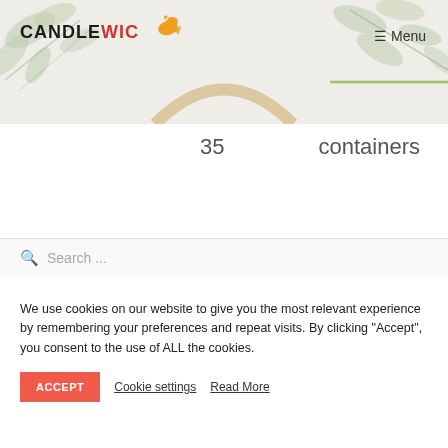[Figure (screenshot): Candlewic website header with hero image showing eucalyptus leaves and a wooden hoop, with logo and Menu button]
35   containers
[Figure (other): Search bar with magnifying glass icon and placeholder text 'Search ...']
We use cookies on our website to give you the most relevant experience by remembering your preferences and repeat visits. By clicking "Accept", you consent to the use of ALL the cookies.
ACCEPT   Cookie settings   Read More